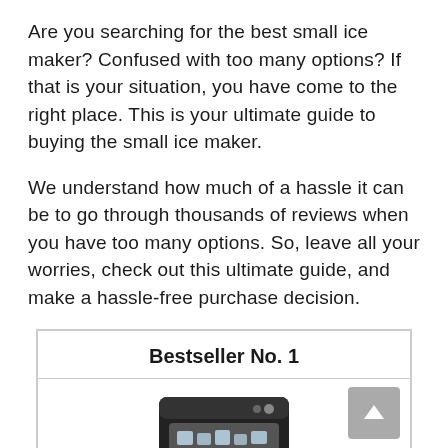Are you searching for the best small ice maker? Confused with too many options? If that is your situation, you have come to the right place. This is your ultimate guide to buying the small ice maker.
We understand how much of a hassle it can be to go through thousands of reviews when you have too many options. So, leave all your worries, check out this ultimate guide, and make a hassle-free purchase decision.
Bestseller No. 1
[Figure (photo): A black countertop ice maker machine with ice cubes visible inside, partially shown at the bottom of the page.]